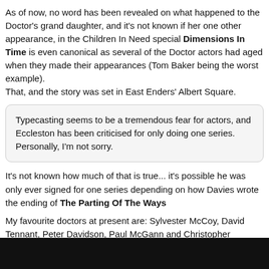As of now, no word has been revealed on what happened to the Doctor's grand daughter, and it's not known if her one other appearance, in the Children In Need special Dimensions In Time is even canonical as several of the Doctor actors had aged when they made their appearances (Tom Baker being the worst example).
That, and the story was set in East Enders' Albert Square.
Typecasting seems to be a tremendous fear for actors, and Eccleston has been criticised for only doing one series. Personally, I'm not sorry.
It's not known how much of that is true... it's possible he was only ever signed for one series depending on how Davies wrote the ending of The Parting Of The Ways
My favourite doctors at present are: Sylvester McCoy, David Tennant, Peter Davidson, Paul McGann and Christopher Eccleston.
I agree with other comments on Eccleston, though. He was okay, but he seemed a little too manic for a Doctor... it did seem a little forced by Tennant seems to have a good handle of both the detached interest and the righteous indignation that other Doctors have shown.